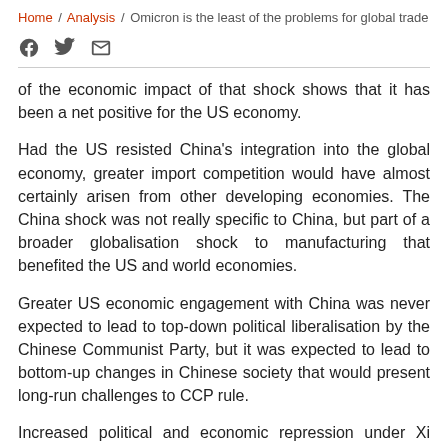Home / Analysis / Omicron is the least of the problems for global trade
of the economic impact of that shock shows that it has been a net positive for the US economy.
Had the US resisted China's integration into the global economy, greater import competition would have almost certainly arisen from other developing economies. The China shock was not really specific to China, but part of a broader globalisation shock to manufacturing that benefited the US and world economies.
Greater US economic engagement with China was never expected to lead to top-down political liberalisation by the Chinese Communist Party, but it was expected to lead to bottom-up changes in Chinese society that would present long-run challenges to CCP rule.
Increased political and economic repression under Xi Jinping, including recent leftist “rectification” campaigns against successful Chinese firms and industries, are